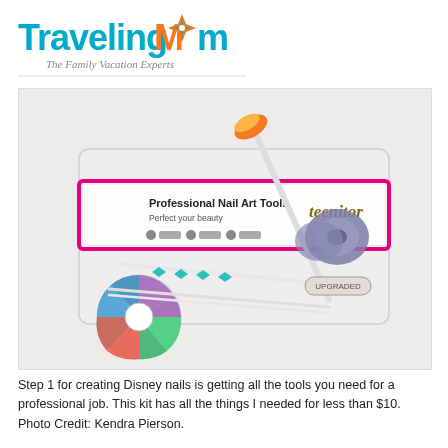TravelingMom – The Family Vacation Experts
[Figure (photo): A Teenitor Professional Nail Art Tools kit package with a fan brush, dotting tools with teal diamond shapes, striping tape rolls, and a rhinestone wheel with colorful gems, displayed on a white background.]
Step 1 for creating Disney nails is getting all the tools you need for a professional job. This kit has all the things I needed for less than $10. Photo Credit: Kendra Pierson.